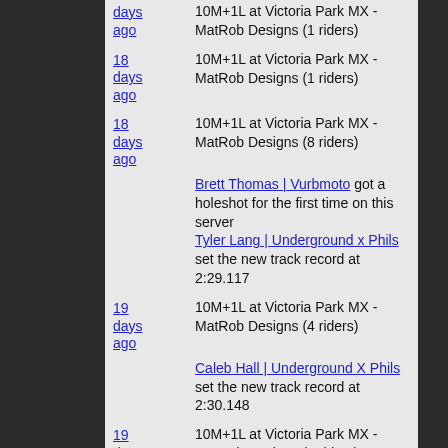18 days ago | 10M+1L at Victoria Park MX - MatRob Designs (1 riders)
18 days ago | 10M+1L at Victoria Park MX - MatRob Designs (8 riders)
Brett Thomas | Vurbmoto got a holeshot for the first time on this server
Tyler Lang | Underground x Phils set the new track record at 2:29.117
19 days ago | 10M+1L at Victoria Park MX - MatRob Designs (4 riders)
Caleb Hall | Underground X Phils set the new track record at 2:30.148
19 days ago | 10M+1L at Victoria Park MX - MatRob Designs (7 riders)
LeBoard James got a lawyer